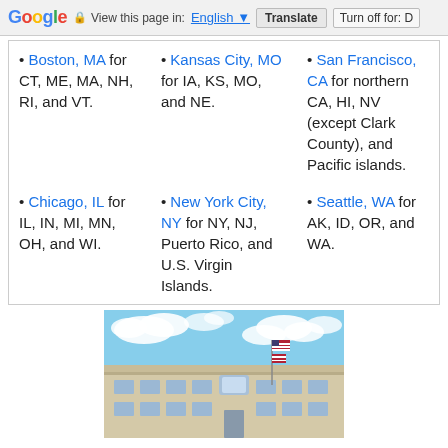Google | View this page in: English | Translate | Turn off for: D
Boston, MA for CT, ME, MA, NH, RI, and VT.
Kansas City, MO for IA, KS, MO, and NE.
San Francisco, CA for northern CA, HI, NV (except Clark County), and Pacific islands.
Chicago, IL for IL, IN, MI, MN, OH, and WI.
New York City, NY for NY, NJ, Puerto Rico, and U.S. Virgin Islands.
Seattle, WA for AK, ID, OR, and WA.
[Figure (photo): A government or federal building with beige/tan facade, glass entrance, and an American flag on a flagpole against a blue sky with clouds.]